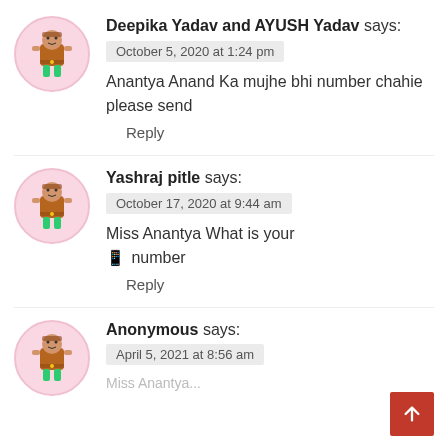[Figure (illustration): Avatar icon: cartoon character with brown body and green legs in pink circle]
Deepika Yadav and AYUSH Yadav says:
October 5, 2020 at 1:24 pm
Anantya Anand Ka mujhe bhi number chahie please send
Reply
[Figure (illustration): Avatar icon: cartoon character with brown body and green legs in pink circle]
Yashraj pitle says:
October 17, 2020 at 9:44 am
Miss Anantya What is your 📱 number
Reply
[Figure (illustration): Avatar icon: cartoon character with brown body and green legs in pink circle]
Anonymous says:
April 5, 2021 at 8:56 am
Miss Anantya...